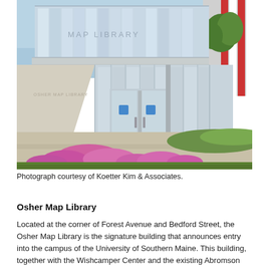[Figure (photo): Exterior photograph of the Osher Map Library building showing a modern multi-story glass and concrete structure with a glass entrance, signage reading 'MAP LIBRARY' on the upper floor, pink flowering bushes in the foreground, blue sky, and adjacent red and white striped building on the right.]
Photograph courtesy of Koetter Kim & Associates.
Osher Map Library
Located at the corner of Forest Avenue and Bedford Street, the Osher Map Library is the signature building that announces entry into the campus of the University of Southern Maine. This building, together with the Wishcamper Center and the existing Abromson Center, provides a